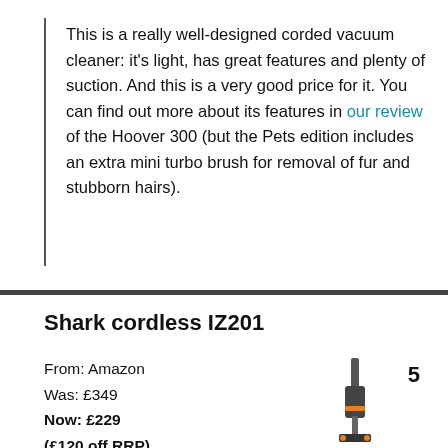This is a really well-designed corded vacuum cleaner: it's light, has great features and plenty of suction. And this is a very good price for it. You can find out more about its features in our review of the Hoover 300 (but the Pets edition includes an extra mini turbo brush for removal of fur and stubborn hairs).
Shark cordless IZ201
From: Amazon
Was: £349
Now: £229
(£120 off RRP)
[Figure (photo): Photo of a Shark cordless vacuum cleaner IZ201 with orange and grey/black coloring, shown upright]